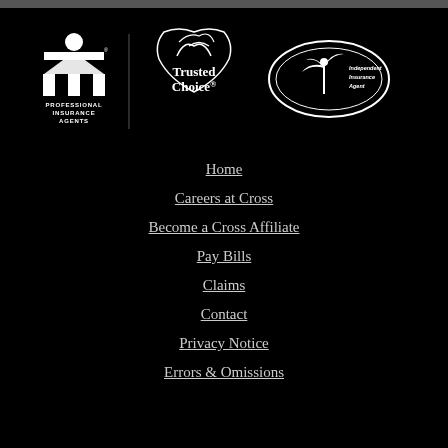[Figure (logo): Three logos: PIA Professional Insurance Agents, Trusted Choice, and Independent Insurance Agent]
Home
Careers at Cross
Become a Cross Affiliate
Pay Bills
Claims
Contact
Privacy Notice
Errors & Omissions